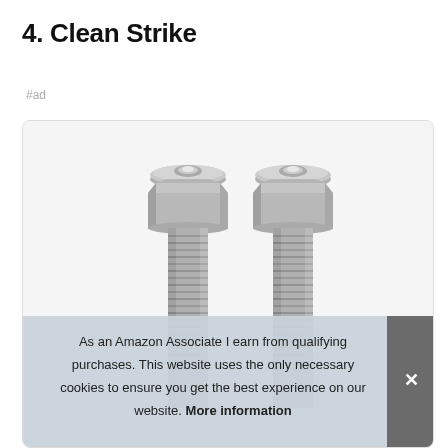4. Clean Strike
#ad
[Figure (photo): Two metallic spark plugs or pressure fittings side by side, showing threaded shafts and hexagonal bases with slotted tops, in silver/nickel finish.]
As an Amazon Associate I earn from qualifying purchases. This website uses the only necessary cookies to ensure you get the best experience on our website. More information